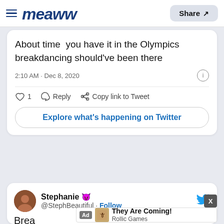Meaww — Share
About time  you have it in the Olympics breakdancing should've been there
2:10 AM · Dec 8, 2020
♡ 1   Reply   Copy link to Tweet
Explore what's happening on Twitter
Stephanie 😈 @StephBeautiful · Follow
Brea spo
[Figure (screenshot): Ad overlay: They Are Coming! by Rollic Games with a close X button]